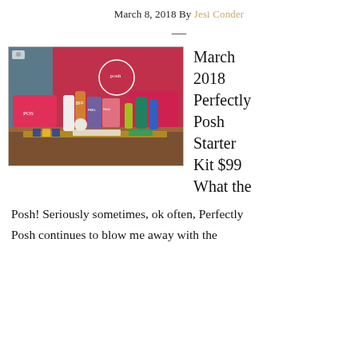March 8, 2018 By Jesi Conder
—
[Figure (photo): Photo of Perfectly Posh March 2018 Starter Kit products spread on a table including pink bags, creams, scrubs, and sample packets, with a pink Perfectly Posh branded backdrop.]
March 2018 Perfectly Posh Starter Kit $99 What the
Posh! Seriously sometimes, ok often, Perfectly Posh continues to blow me away with the